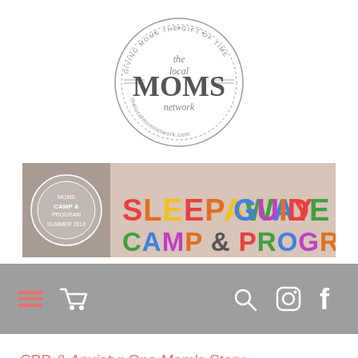[Figure (logo): The Local Moms Network circular logo with text 'GIVING MOMS THE GIFT OF TIME' around the border and 'the local MOMS network' in the center, URL thelocalmomsetwork.com at bottom]
[Figure (screenshot): Sleepaway Camp & Program Guide banner advertisement with colorful text and children in background, MOMS badge on left]
[Figure (screenshot): Navigation bar with grey background showing hamburger menu, shopping cart, search, Instagram, and Facebook icons]
CBD & Anxiety: One Mom's Story
Recently, we showcased the moms behind Press Pause, a female-focused CBD company.